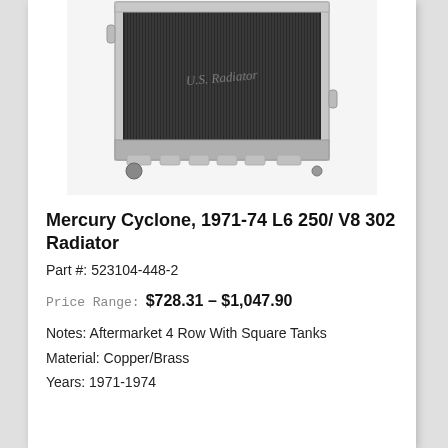[Figure (photo): Product photo of a U.S. Radiator brand copper/brass radiator for Mercury Cyclone, shown from the front with visible cooling fins and inlet/outlet ports.]
Mercury Cyclone, 1971-74 L6 250/ V8 302 Radiator
Part #: 523104-448-2
Price Range:  $728.31 – $1,047.90
Notes: Aftermarket 4 Row With Square Tanks
Material: Copper/Brass
Years: 1971-1974